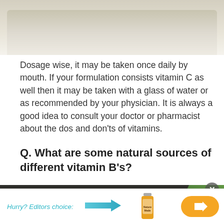[Figure (photo): Top portion of a food/supplement photo, light beige background with blurred content]
Dosage wise, it may be taken once daily by mouth. If your formulation consists vitamin C as well then it may be taken with a glass of water or as recommended by your physician. It is always a good idea to consult your doctor or pharmacist about the dos and don'ts of vitamins.
Q. What are some natural sources of different vitamin B's?
[Figure (photo): Bottom photo showing dark background with green leaves/herbs visible on right side]
Hurry? Editors choice: